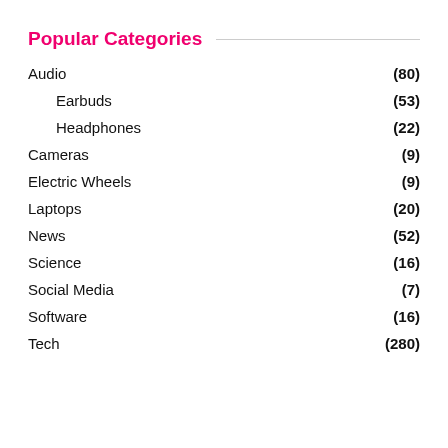Popular Categories
Audio (80)
Earbuds (53)
Headphones (22)
Cameras (9)
Electric Wheels (9)
Laptops (20)
News (52)
Science (16)
Social Media (7)
Software (16)
Tech (280)